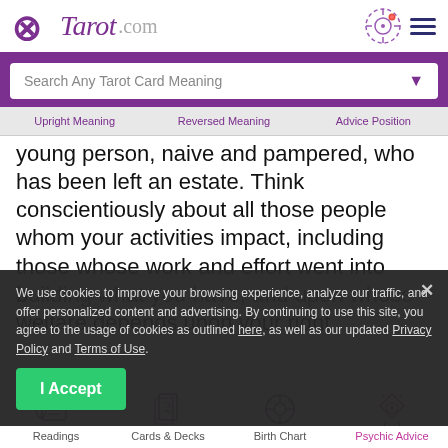Tarot.com
Search Any Tarot Card Meaning
Upright Meaning   Reversed Meaning   Advice Position
young person, naive and pampered, who has been left an estate. Think conscientiously about all those people whom your activities impact, including those whose work and effort went into b... whose welfare depends upon your right management. What you have been given is abundant; still, it is n... nits. If you are prudent and
We use cookies to improve your browsing experience, analyze our traffic, and offer personalized content and advertising. By continuing to use this site, you agree to the usage of cookies as outlined here, as well as our updated Privacy Policy and Terms of Use.
I Accept
Readings   Cards & Decks   Birth Chart   Psychic Advice